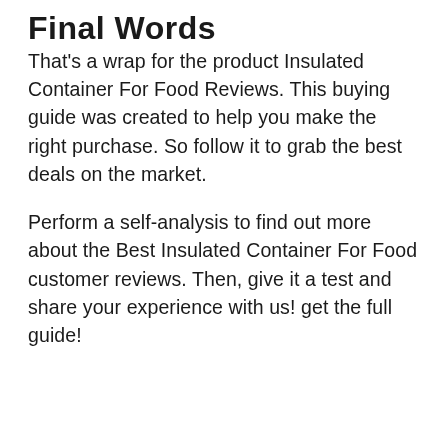Final Words
That's a wrap for the product Insulated Container For Food Reviews. This buying guide was created to help you make the right purchase. So follow it to grab the best deals on the market.
Perform a self-analysis to find out more about the Best Insulated Container For Food customer reviews. Then, give it a test and share your experience with us! get the full guide!